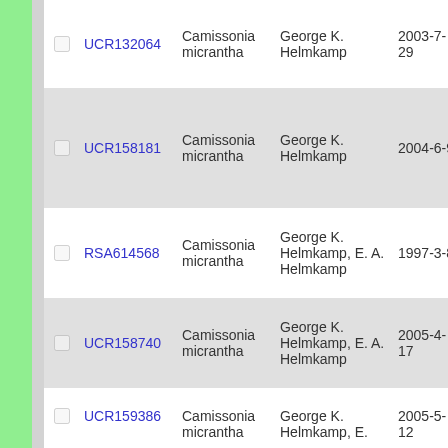|  | ID | Species | Collector | Date | Num |
| --- | --- | --- | --- | --- | --- |
| ☐ | UCR132064 | Camissonia micrantha | George K. Helmkamp | 2003-7-29 | 803 |
| ☐ | UCR158181 | Camissonia micrantha | George K. Helmkamp | 2004-6-9 | 861 |
| ☐ | RSA614568 | Camissonia micrantha | George K. Helmkamp, E. A. Helmkamp | 1997-3-8 | 143 |
| ☐ | UCR158740 | Camissonia micrantha | George K. Helmkamp, E. A. Helmkamp | 2005-4-17 | 937 |
| ☐ | UCR159386 | Camissonia micrantha | George K. Helmkamp, E. | 2005-5-12 | 942 |